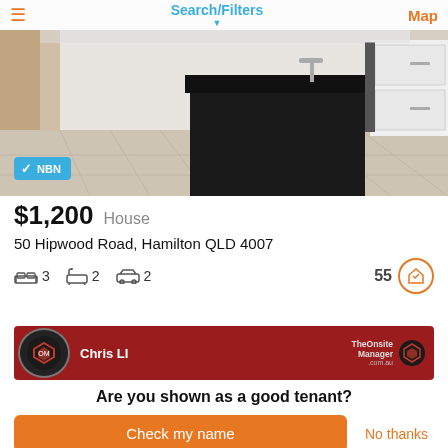Search/Filters  Map
[Figure (photo): Interior photo of a modern kitchen with black island bench, white cabinetry, and light wood-effect flooring. NBN badge in bottom-left corner.]
$1,200  House
50 Hipwood Road, Hamilton QLD 4007
🛏 3  🛁 2  🚗 2   55
[Figure (infographic): Red agent bar showing Chris LI and TheOnsiteManager branding with logo icons]
Are you shown as a good tenant?
Check my name
No thanks